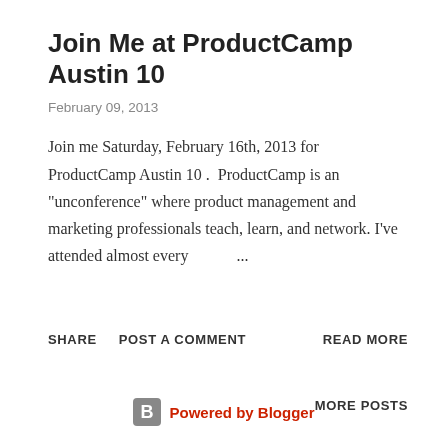Join Me at ProductCamp Austin 10
February 09, 2013
Join me Saturday, February 16th, 2013 for ProductCamp Austin 10 .  ProductCamp is an "unconference" where product management and marketing professionals teach, learn, and network. I've attended almost every   ...
SHARE   POST A COMMENT   READ MORE
MORE POSTS
Powered by Blogger